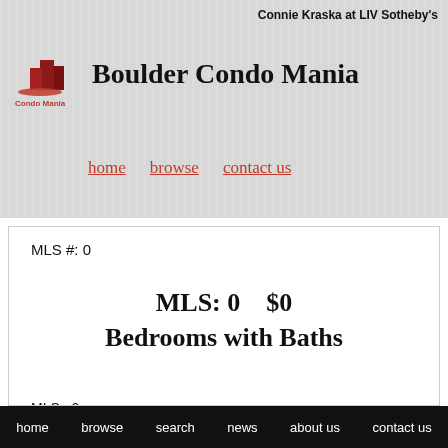Connie Kraska at LIV Sotheby's
Boulder Condo Mania
home   browse   contact us
MLS #: 0
MLS: 0    $0
Bedrooms with Baths
MLS:  0
Status:  UNKNOWN
List Price:  $0
Price per SQFT:  $0
home   browse   search   news   about us   contact us